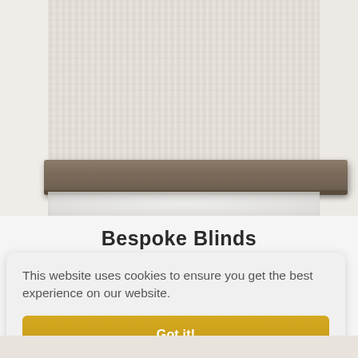[Figure (photo): Close-up photo of a roller blind with light grey/beige textured fabric and a brown wooden/plastic bottom rail, mounted at a window.]
Bespoke Blinds
This website uses cookies to ensure you get the best experience on our website.
Got it!